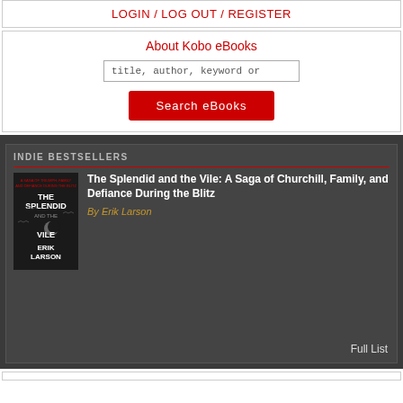LOGIN / LOG OUT / REGISTER
About Kobo eBooks
title, author, keyword or
Search eBooks
INDIE BESTSELLERS
[Figure (photo): Book cover of The Splendid and the Vile by Erik Larson — dark background with birds and a moon]
The Splendid and the Vile: A Saga of Churchill, Family, and Defiance During the Blitz
By Erik Larson
Full List